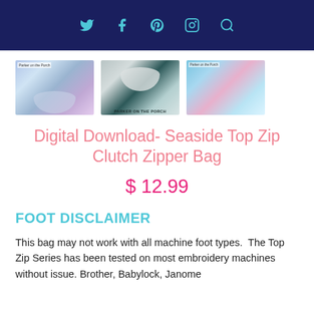Twitter Facebook Pinterest Instagram Search
[Figure (photo): Three product thumbnail images of the Seaside Top Zip Clutch Zipper Bag. Left image shows a scalloped zipper bag in iridescent blue/purple fabric on chevron background with 'Parker on the Porch' label. Middle image shows a silver/white scalloped zipper bag on teal background with 'PARKER ON THE PORCH' text below. Right image shows a blue patterned fabric zipper bag with pink accents.]
Digital Download- Seaside Top Zip Clutch Zipper Bag
$ 12.99
FOOT DISCLAIMER
This bag may not work with all machine foot types.  The Top Zip Series has been tested on most embroidery machines without issue. Brother, Babylock, Janome